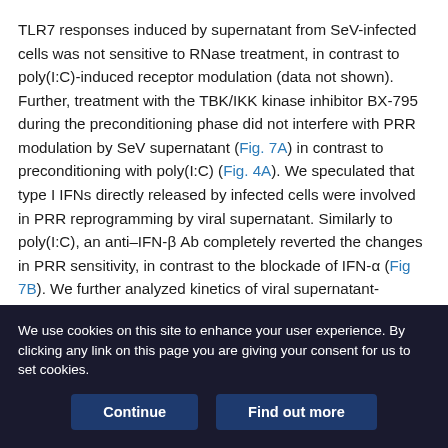TLR7 responses induced by supernatant from SeV-infected cells was not sensitive to RNase treatment, in contrast to poly(I:C)-induced receptor modulation (data not shown). Further, treatment with the TBK/IKK kinase inhibitor BX-795 during the preconditioning phase did not interfere with PRR modulation by SeV supernatant (Fig. 7A) in contrast to preconditioning with poly(I:C) (Fig. 4A). We speculated that type I IFNs directly released by infected cells were involved in PRR reprogramming by viral supernatant. Similarly to poly(I:C), an anti–IFN-β Ab completely reverted the changes in PRR sensitivity, in contrast to the blockade of IFN-α (Fig 7B). We further analyzed kinetics of viral supernatant-induced changes in PRR signaling. Maximum TLR7 sensitivity was observed after 8–24 h, and maximal repression of
We use cookies on this site to enhance your user experience. By clicking any link on this page you are giving your consent for us to set cookies.